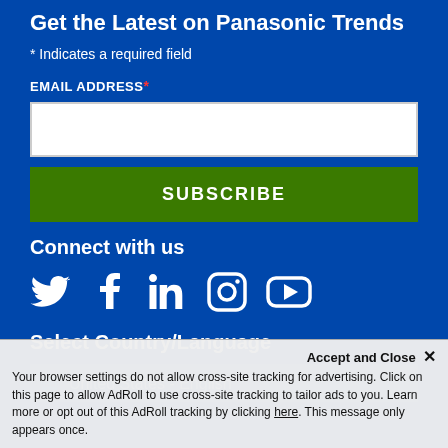Get the Latest on Panasonic Trends
* Indicates a required field
EMAIL ADDRESS*
SUBSCRIBE
Connect with us
[Figure (illustration): Social media icons: Twitter, Facebook, LinkedIn, Instagram, YouTube]
Select Country/Language
United States - English
Accept and Close ✕
Your browser settings do not allow cross-site tracking for advertising. Click on this page to allow AdRoll to use cross-site tracking to tailor ads to you. Learn more or opt out of this AdRoll tracking by clicking here. This message only appears once.